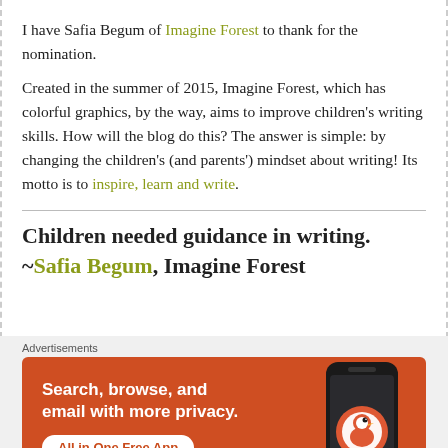I have Safia Begum of Imagine Forest to thank for the nomination.
Created in the summer of 2015, Imagine Forest, which has colorful graphics, by the way, aims to improve children's writing skills. How will the blog do this? The answer is simple: by changing the children's (and parents') mindset about writing! Its motto is to inspire, learn and write.
Children needed guidance in writing. ~Safia Begum, Imagine Forest
[Figure (screenshot): DuckDuckGo advertisement banner with orange background showing 'Search, browse, and email with more privacy. All in One Free App' with a phone graphic showing the DuckDuckGo logo.]